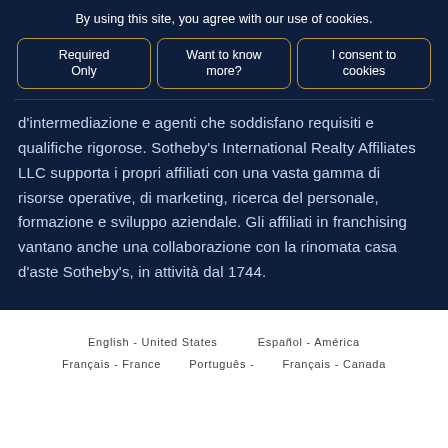By using this site, you agree with our use of cookies.
Required Only | Want to know more? | I consent to cookies
d'intermediazione e agenti che soddisfano requisiti e qualifiche rigorose. Sotheby's International Realty Affiliates LLC supporta i propri affiliati con una vasta gamma di risorse operative, di marketing, ricerca del personale, formazione e sviluppo aziendale. Gli affiliati in franchising vantano anche una collaborazione con la rinomata casa d'aste Sotheby's, in attività dal 1744.
English - United States   Español - América
Français - France   Português - ...   Français - Canada ...